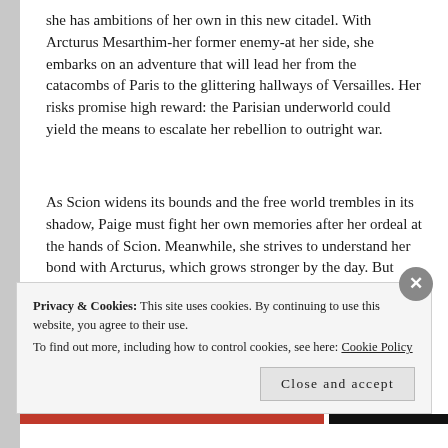she has ambitions of her own in this new citadel. With Arcturus Mesarthim-her former enemy-at her side, she embarks on an adventure that will lead her from the catacombs of Paris to the glittering hallways of Versailles. Her risks promise high reward: the Parisian underworld could yield the means to escalate her rebellion to outright war.
As Scion widens its bounds and the free world trembles in its shadow, Paige must fight her own memories after her ordeal at the hands of Scion. Meanwhile, she strives to understand her bond with Arcturus, which grows stronger by the day. But there are those who know the revolution began with them-and could end with them.
Privacy & Cookies: This site uses cookies. By continuing to use this website, you agree to their use.
To find out more, including how to control cookies, see here: Cookie Policy